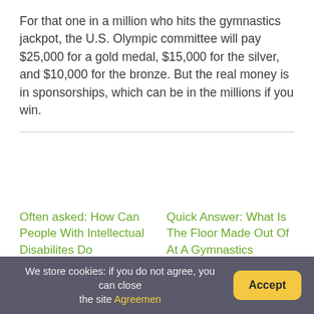For that one in a million who hits the gymnastics jackpot, the U.S. Olympic committee will pay $25,000 for a gold medal, $15,000 for the silver, and $10,000 for the bronze. But the real money is in sponsorships, which can be in the millions if you win.
Often asked: How Can People With Intellectual Disabilites Do Gymnastics?
Quick Answer: What Is The Floor Made Out Of At A Gymnastics School?
We store cookies: if you do not agree, you can close the site Agreemen